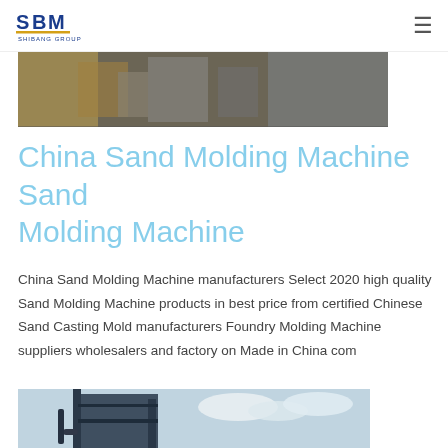SBM Shibang Group logo and navigation hamburger menu
[Figure (photo): Industrial machinery/sand molding machine equipment photo strip at top]
China Sand Molding Machine Sand Molding Machine
China Sand Molding Machine manufacturers Select 2020 high quality Sand Molding Machine products in best price from certified Chinese Sand Casting Mold manufacturers Foundry Molding Machine suppliers wholesalers and factory on Made in China com
[Figure (photo): Large industrial dust collector / sand molding machine tower structure against cloudy sky]